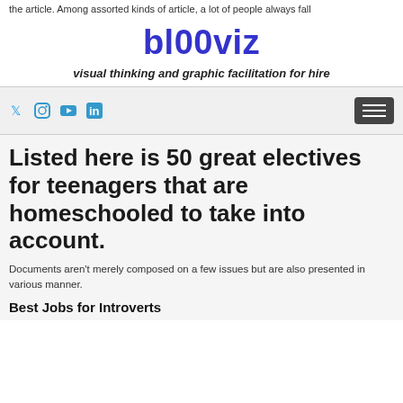the article. Among assorted kinds of article, a lot of people always fall
bl00viz
visual thinking and graphic facilitation for hire
[Figure (screenshot): Navigation bar with social media icons (Twitter, Instagram, YouTube, LinkedIn) and a hamburger menu button]
Listed here is 50 great electives for teenagers that are homeschooled to take into account.
Documents aren't merely composed on a few issues but are also presented in various manner.
Best Jobs for Introverts